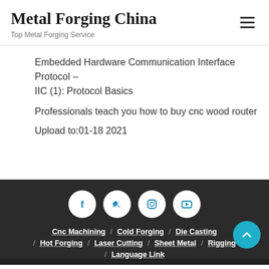Metal Forging China
Top Metal Forging Service
Embedded Hardware Communication Interface Protocol – IIC (1): Protocol Basics
Professionals teach you how to buy cnc wood router
Upload to:01-18 2021
[Figure (infographic): Social media icons: Facebook, Twitter, Instagram, YouTube — white circles on dark background]
Cnc Machining / Cold Forging / Die Casting / Hot Forging / Laser Cutting / Sheet Metal / Rigging / Language Link